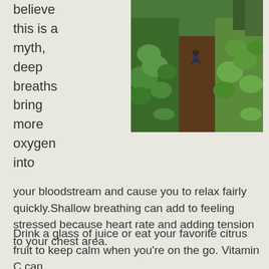believe this is a myth, deep breaths bring more oxygen into
[Figure (photo): Aerial view of a lush vegetable garden with two rows of green plants (kale, leafy greens) flanking a dark soil path, with a person bent over working in the middle distance, surrounded by trees and dense vegetation.]
your bloodstream and cause you to relax fairly quickly.Shallow breathing can add to feeling stressed because heart rate and adding tension to your chest area.
Drink a glass of juice or eat your favorite citrus fruit to keep calm when you're on the go. Vitamin C can